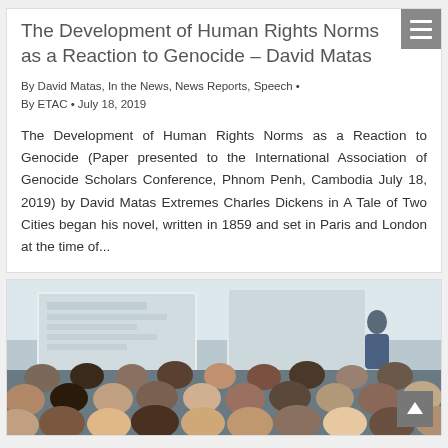The Development of Human Rights Norms as a Reaction to Genocide – David Matas
By David Matas, In the News, News Reports, Speech • By ETAC • July 18, 2019
The Development of Human Rights Norms as a Reaction to Genocide (Paper presented to the International Association of Genocide Scholars Conference, Phnom Penh, Cambodia July 18, 2019) by David Matas Extremes Charles Dickens in A Tale of Two Cities began his novel, written in 1859 and set in Paris and London at the time of...
[Figure (photo): Conference audience photo: people sitting with backs to camera, presenter at whiteboard/screen at front of room]